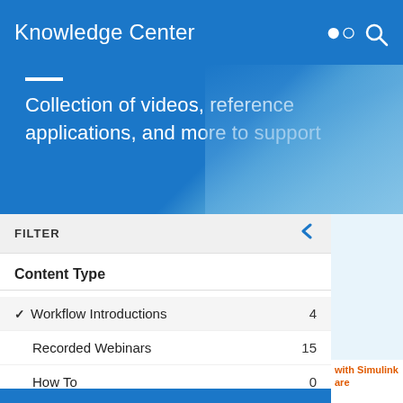Knowledge Center
Collection of videos, reference applications, and more to support
FILTER
Content Type
✓ Workflow Introductions 4
Recorded Webinars 15
How To 0
Industry Use Cases 14
Success Stories 6
Reference Applications 2
Whitepapers 3
with Simulink are